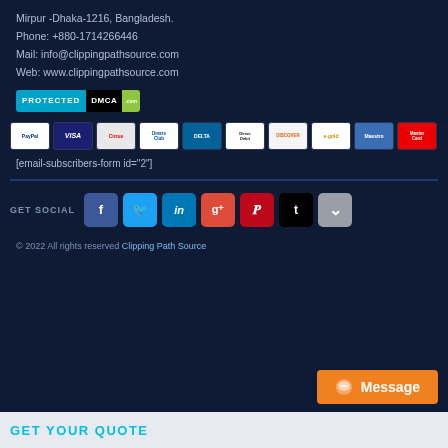Mirpur -Dhaka-1216, Bangladesh.
Phone: +880-1714266446
Mail: info@clippingpathsource.com
Web: www.clippingpathsource.com
[Figure (logo): DMCA Protected badge]
[Figure (other): Row of payment method icons: PayPal, VISA, Cirrus, Diners Club, Delta, Direct Debit, Discover, e-gold, Maestro, MasterCard]
[email-subscribers-form id="2"]
GET SOCIAL
[Figure (infographic): Social media buttons: Facebook, Twitter, LinkedIn, Google+, Pinterest, Tumblr, Pocket]
© 2022 All rights reserved Clipping Path Source
Message
GET YOUR QUOTE